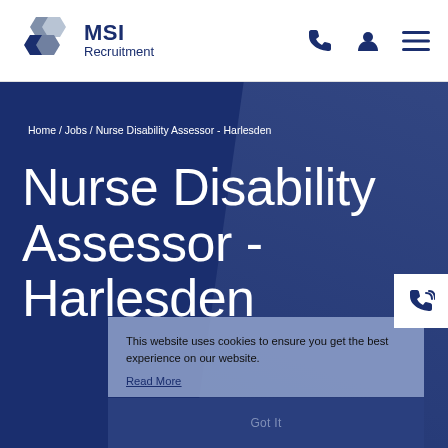[Figure (logo): MSI Recruitment logo with hexagon shapes in dark blue and grey]
[Figure (infographic): Navigation icons: phone, user account, and hamburger menu in dark blue]
Nurse Disability Assessor - Harlesden
Home / Jobs / Nurse Disability Assessor - Harlesden
This website uses cookies to ensure you get the best experience on our website.
Read More
Got It